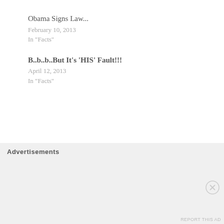Obama Signs Law...
February 10, 2013
In "Facts"
B..b..b..But It’s ‘HIS’ Fault!!!
April 12, 2013
In "Facts"
American flag | Barack Obama | Bill Clinton | George H. W. Bush | George W. Bush | Oval Office | Ronald Reagan | White House
Advertisements